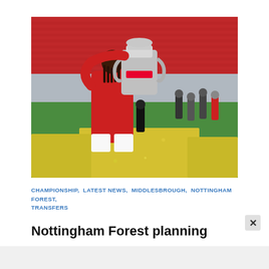[Figure (photo): A Nottingham Forest footballer in red kit kissing a silver trophy (Sky Bet Championship playoff trophy) at Wembley Stadium, with yellow confetti on the pitch and red stadium seats in background.]
CHAMPIONSHIP, LATEST NEWS, MIDDLESBROUGH, NOTTINGHAM FOREST, TRANSFERS
Nottingham Forest planning